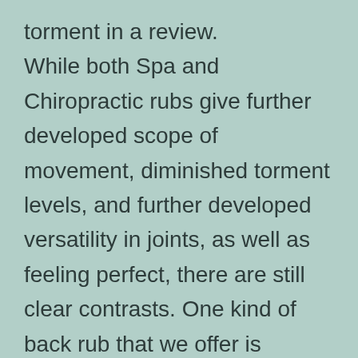torment in a review.
While both Spa and Chiropractic rubs give further developed scope of movement, diminished torment levels, and further developed versatility in joints, as well as feeling perfect, there are still clear contrasts. One kind of back rub that we offer is Swedish back rub, which isn’t equivalent to a standard back rub or profound tissue knead.
You typically have the decision of what sort of back rub you need, and you and your accomplice may each get various kinds of back